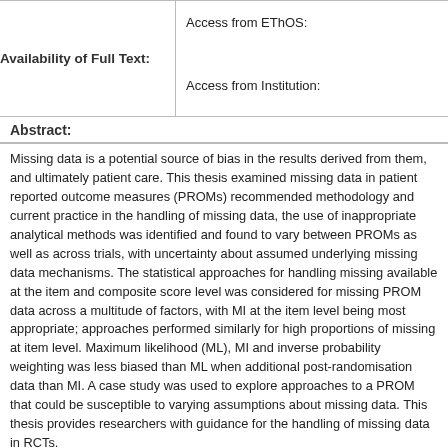| Availability of Full Text: | Access from EThOS: / Access from Institution: |
| --- | --- |
| Availability of Full Text: | Access from EThOS:
Access from Institution: |
Abstract:
Missing data is a potential source of bias in the results derived from them, and ultimately patient care. This thesis examined missing data in patient reported outcome measures (PROMs) used in RCTs, recommended methodology and current practice in the handling of missing data, the use of inappropriate analytical methods was identified and found to vary between PROMs as well as across trials, with uncertainty about assumed underlying missing data mechanisms. The statistical approaches for handling missing available at the item and composite score level was considered for missing PROM data across a multitude of factors, with MI at the item level being most appropriate; approaches performed similarly for high proportions of missing at item level. Maximum likelihood (ML), MI and inverse probability weighting was less biased than ML when additional post-randomisation data than MI. A case study was used to explore approaches to a PROM that could be susceptible to varying assumptions about missing data. This thesis provides researchers with guidance for the handling of missing data in RCTs.
| Supervisor: |  |
| --- | --- |
| Supervisor: | Gray, Alastair ; Jenkinson, Oliver |